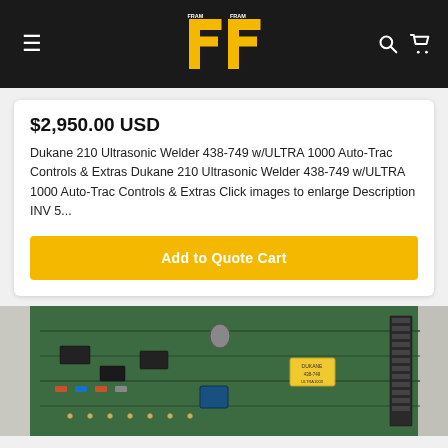FRAM FRAM logo header with hamburger menu and cart icons
$2,950.00 USD
Dukane 210 Ultrasonic Welder 438-749 w/ULTRA 1000 Auto-Trac Controls & Extras Dukane 210 Ultrasonic Welder 438-749 w/ULTRA 1000 Auto-Trac Controls & Extras Click images to enlarge Description INV 5...
Add to Quote Cart
[Figure (photo): Green circuit board / PCB closeup photo of a Dukane Ultrasonic Welder control board]